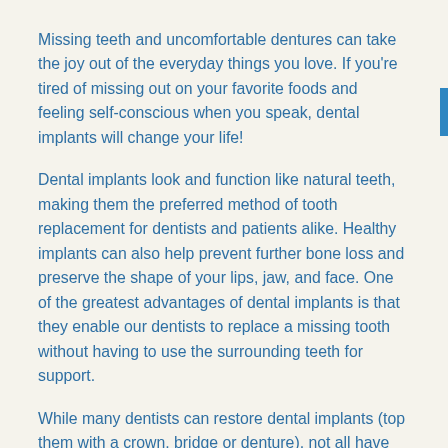Missing teeth and uncomfortable dentures can take the joy out of the everyday things you love. If you're tired of missing out on your favorite foods and feeling self-conscious when you speak, dental implants will change your life!
Dental implants look and function like natural teeth, making them the preferred method of tooth replacement for dentists and patients alike. Healthy implants can also help prevent further bone loss and preserve the shape of your lips, jaw, and face. One of the greatest advantages of dental implants is that they enable our dentists to replace a missing tooth without having to use the surrounding teeth for support.
While many dentists can restore dental implants (top them with a crown, bridge or denture), not all have the ability to perform the implant procedure from start to finish. As our name implies, the dentists at the Cosmetic and Dental Implant Center have completed extensive training in both the surgical placement and the cosmetic restoration of dental implants. They get their high-quality implant materials